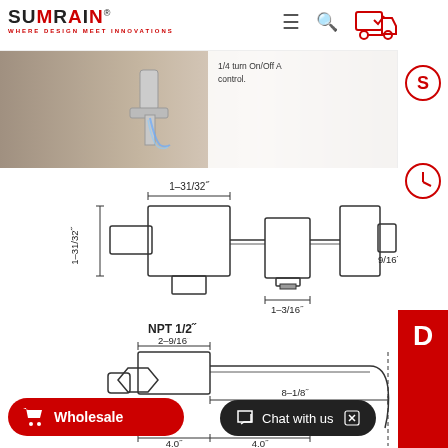SUMRAIN® WHERE DESIGN MEET INNOVATIONS
[Figure (photo): Water faucet product photo showing water flowing from a modern chrome faucet. Text visible: '1/4 turn On/Off A control.']
[Figure (engineering-diagram): Top engineering diagram showing a 3-valve assembly with dimensions: 1-31/32" width across left valve, 1-31/32" height of left valve, 9/16" on right side, NPT 1/2" inlet label, 1-3/16" center outlet width.]
[Figure (engineering-diagram): Bottom engineering diagram showing a wall-mount faucet side-profile with dimensions: 2-9/16" depth of valve body, 8-1/8" spout reach, 4.0" and 4.0" spacing dimensions at bottom.]